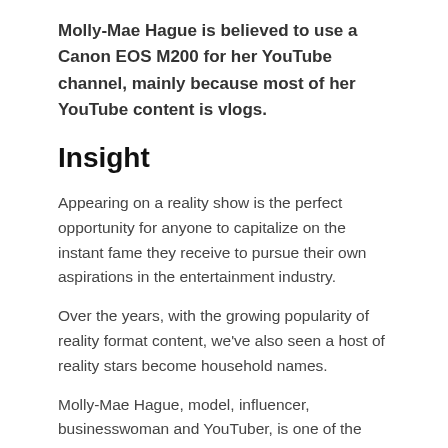Molly-Mae Hague is believed to use a Canon EOS M200 for her YouTube channel, mainly because most of her YouTube content is vlogs.
Insight
Appearing on a reality show is the perfect opportunity for anyone to capitalize on the instant fame they receive to pursue their own aspirations in the entertainment industry.
Over the years, with the growing popularity of reality format content, we've also seen a host of reality stars become household names.
Molly-Mae Hague, model, influencer, businesswoman and YouTuber, is one of the latest reality TV stars to capitalize on her newfound fame to grow her wealth.
Currently one of the most popular YouTube channels among English